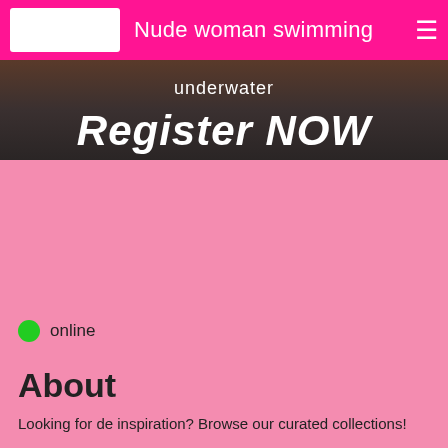Nude woman swimming
[Figure (photo): Banner image showing people with text overlay 'underwater' and 'Register NOW' on a dark background]
online
About
Looking for de inspiration? Browse our curated collections!